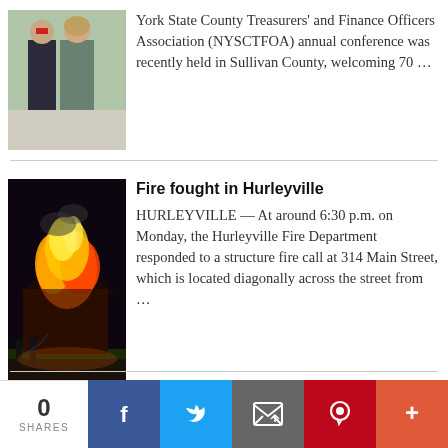[Figure (photo): Two people (man in suit and woman) standing outdoors]
York State County Treasurers' and Finance Officers Association (NYSCTFOA) annual conference was recently held in Sullivan County, welcoming 70 …
[Figure (photo): Building on fire at night with firefighters in foreground]
Fire fought in Hurleyville
HURLEYVILLE — At around 6:30 p.m. on Monday, the Hurleyville Fire Department responded to a structure fire call at 314 Main Street, which is located diagonally across the street from …
0 SHARES | Facebook | Twitter | Email | Pinterest | More